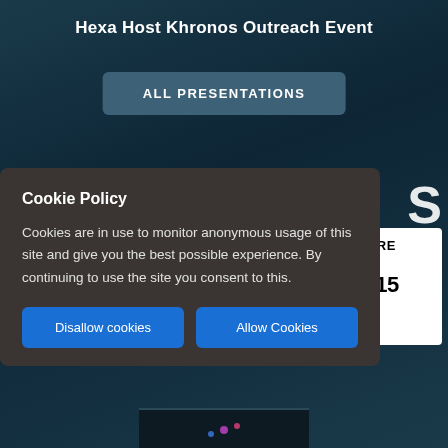Hexa Host Khronos Outreach Event
ALL PRESENTATIONS
Cookie Policy
Cookies are in use to monitor anonymous usage of this site and give you the best possible experience. By continuing to use the site you consent to this.
Disallow cookies
Allow Cookies